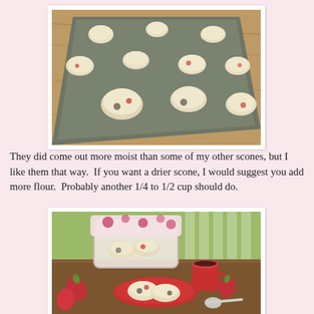[Figure (photo): Unbaked scone dough balls arranged on a dark baking sheet on a wooden surface, viewed from a low angle]
They did come out more moist than some of my other scones, but I like them that way.  If you want a drier scone, I would suggest you add more flour.  Probably another 1/4 to 1/2 cup should do.
[Figure (photo): Baked strawberry scones on a red plate and in a floral-print basket, with fresh strawberries, a red coffee mug, and a spoon on a wooden table]